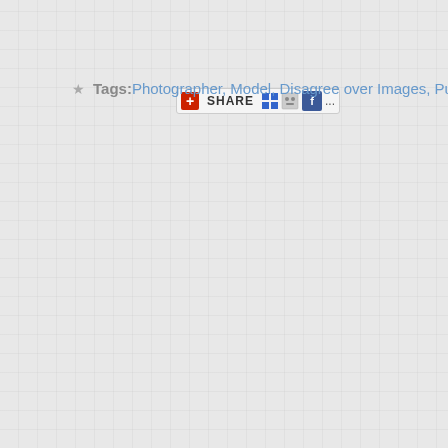[Figure (screenshot): Share button bar with red plus icon, SHARE text, and social media icons for Delicious, Digg, Facebook, and more]
Tags: Photographer, Model, Disagree over Images, Publication, R...